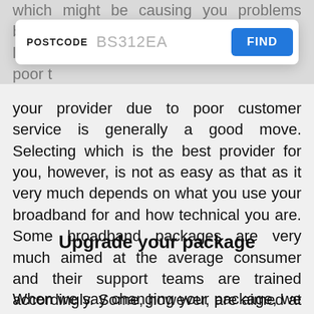which might be causing you problems because the level of … is too poor to … changing your provider due to poor customer service is generally a good move. Selecting which is the best provider for you, however, is not as easy as that as it very much depends on what you use your broadband for and how technical you are. Some broadband packages are very much aimed at the average consumer and their support teams are trained accordingly. Some, however, are aimed at the tech savvy, the gamers and the developers. We advise choosing the correct one for you.
[Figure (screenshot): A postcode search widget showing a white rounded rectangle with 'POSTCODE' label in bold, 'BS312EA' in grey input text, and a blue 'FIND' button on the right.]
Upgrade your package
When we say changing your package, we mean changing the services that come with your